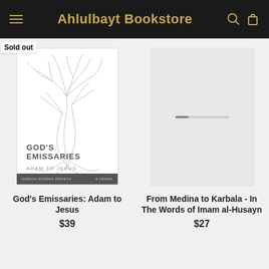Ahlulbayt Bookstore
[Figure (illustration): Book cover for God's Emissaries: Adam to Jesus showing a tree illustration with roots, by Sheikh Rizwan Arastu]
Sold out
God's Emissaries: Adam to Jesus
$39
[Figure (illustration): Loading placeholder for From Medina to Karbala book cover]
From Medina to Karbala - In The Words of Imam al-Husayn
$27